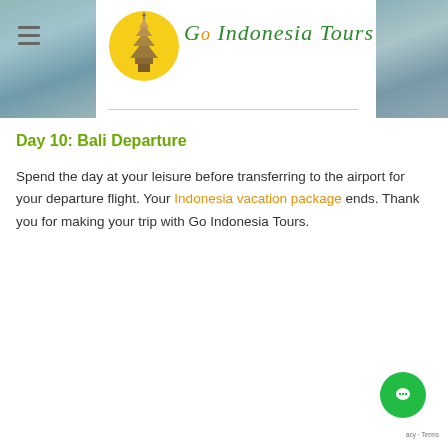[Figure (logo): Go Indonesia Tours website header with logo (pagoda/temple in yellow circle) and site name in green italic script, with hamburger menu icon on left and blurred landscape photos on left and right edges]
Day 10: Bali Departure
Spend the day at your leisure before transferring to the airport for your departure flight. Your Indonesia vacation package ends. Thank you for making your trip with Go Indonesia Tours.